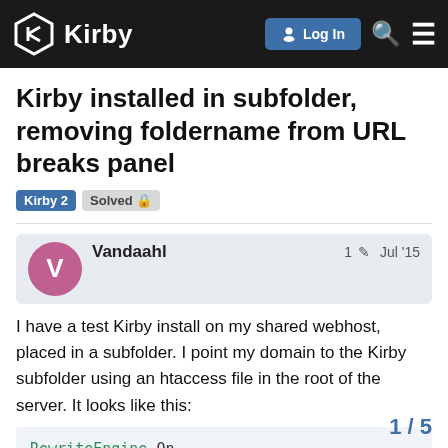Kirby — Log In
Kirby installed in subfolder, removing foldername from URL breaks panel
Kirby 2  Solved 🔒
Vandaahl  1 ✏  Jul '15
I have a test Kirby install on my shared webhost, placed in a subfolder. I point my domain to the Kirby subfolder using an htaccess file in the root of the server. It looks like this:
RewriteEngine On
RewriteBase /

RewriteCond %{HTTP_HOST} ^(www\.)?mydomain\.com
RewriteRule ^(.*)$ mydomain/$1
1 / 5